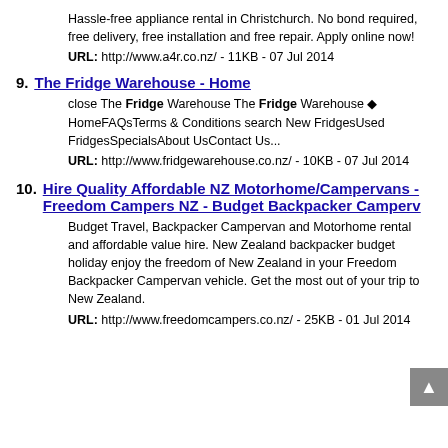Hassle-free appliance rental in Christchurch. No bond required, free delivery, free installation and free repair. Apply online now!
URL: http://www.a4r.co.nz/ - 11KB - 07 Jul 2014
9. The Fridge Warehouse - Home
close The Fridge Warehouse The Fridge Warehouse ◆ HomeFAQsTerms & Conditions search New FridgesUsed FridgesSpecialsAbout UsContact Us...
URL: http://www.fridgewarehouse.co.nz/ - 10KB - 07 Jul 2014
10. Hire Quality Affordable NZ Motorhome/Campervans - Freedom Campers NZ - Budget Backpacker Camperv
Budget Travel, Backpacker Campervan and Motorhome rental and affordable value hire. New Zealand backpacker budget holiday enjoy the freedom of New Zealand in your Freedom Backpacker Campervan vehicle. Get the most out of your trip to New Zealand.
URL: http://www.freedomcampers.co.nz/ - 25KB - 01 Jul 2014